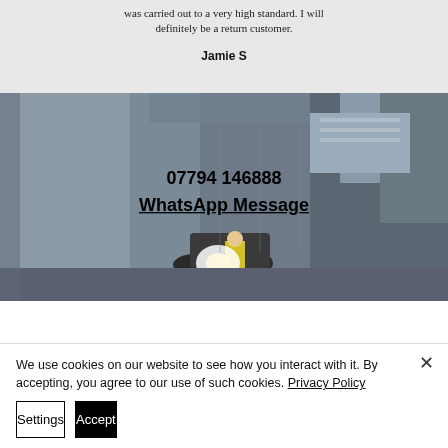was carried out to a very high standard. I will definitely be a return customer.
Jamie S
[Figure (photo): Industrial warehouse or factory interior with a worker in high-visibility clothing, heavy machinery and metal structures. Overlaid with phone number 07794 146888 and WhatsApp Message link.]
We use cookies on our website to see how you interact with it. By accepting, you agree to our use of such cookies. Privacy Policy
Settings
Accept